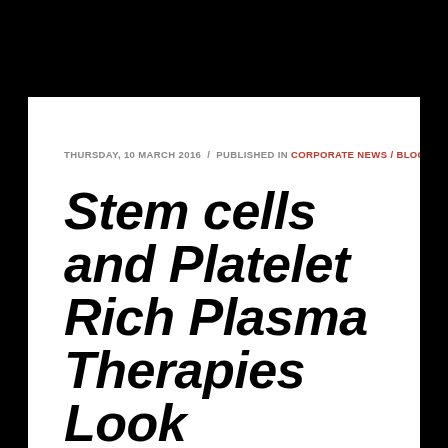THURSDAY, 10 MARCH 2016  /  PUBLISHED IN CORPORATE NEWS / BLOG
Stem cells and Platelet Rich Plasma Therapies Look Promising for Treating